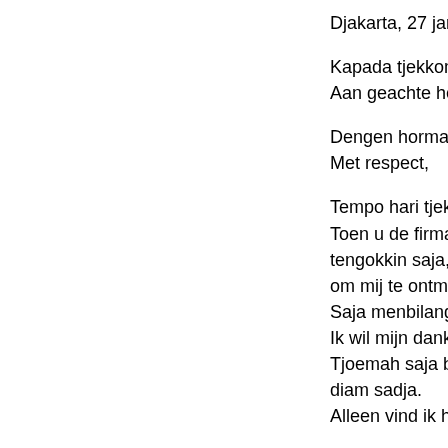Djakarta, 27 jan.19
Kapada tjekkong k
Aan geachte heer
Dengen hormat,
Met respect,
Tempo hari tjekkon
Toen u de firma Yo
tengokkin saja, itoe
om mij te ontmoete
Saja menbilang baj
Ik wil mijn dank uit
Tjoemah saja banj
diam sadja.
Alleen vind ik het j
Djadi banjak sit leh
orang laen.
Daarom is er nog